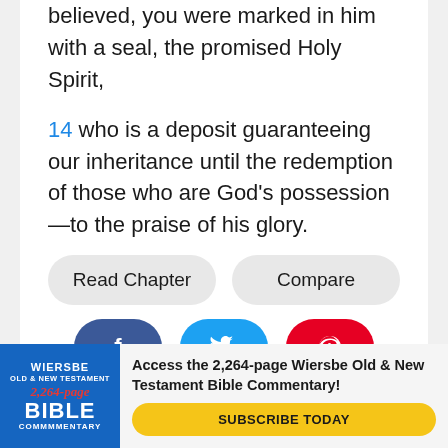believed, you were marked in him with a seal, the promised Holy Spirit,
14 who is a deposit guaranteeing our inheritance until the redemption of those who are God's possession—to the praise of his glory.
[Figure (screenshot): Read Chapter and Compare buttons, followed by Facebook, Twitter, and Pinterest share buttons]
[Figure (infographic): Advertisement for Wiersbe Old & New Testament Bible Commentary showing book cover and subscribe button]